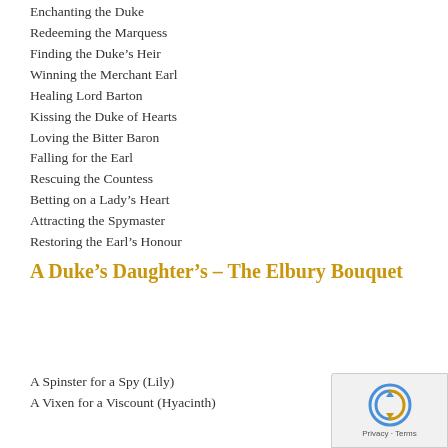Enchanting the Duke
Redeeming the Marquess
Finding the Duke's Heir
Winning the Merchant Earl
Healing Lord Barton
Kissing the Duke of Hearts
Loving the Bitter Baron
Falling for the Earl
Rescuing the Countess
Betting on a Lady's Heart
Attracting the Spymaster
Restoring the Earl's Honour
A Duke's Daughter's – The Elbury Bouquet
A Spinster for a Spy (Lily)
A Vixen for a Viscount (Hyacinth)